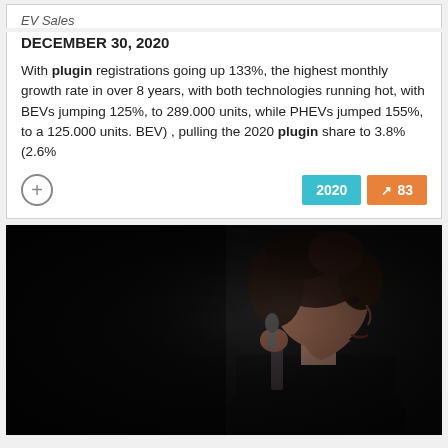EV Sales
DECEMBER 30, 2020
With plugin registrations going up 133%, the highest monthly growth rate in over 8 years, with both technologies running hot, with BEVs jumping 125%, to 289.000 units, while PHEVs jumped 155%, to a 125.000 units. BEV) , pulling the 2020 plugin share to 3.8% (2.6%
[Figure (photo): Black and white/dark toned photo of a person singing into a microphone, shown in profile/side view, against a dark background]